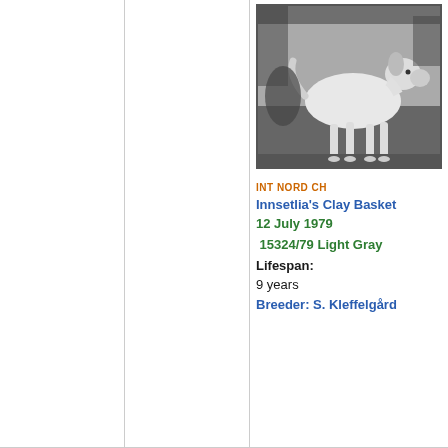[Figure (photo): Black and white photograph of a dog (light gray/white) standing in profile, outdoor setting]
INT NORD CH
Innsetlia's Clay Basket
12 July 1979
15324/79 Light Gray
Lifespan:
9 years
Breeder: S. Kleffelgård